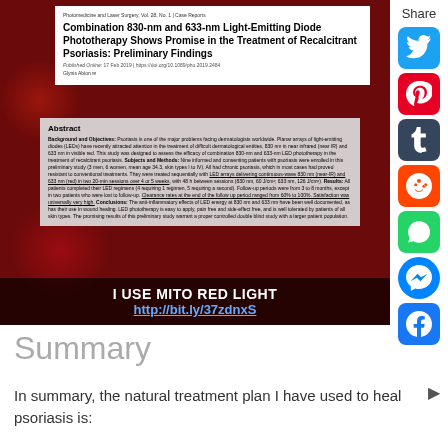[Figure (screenshot): Screenshot of academic journal article about LED phototherapy for psoriasis, overlaid on a dark red background image. Shows article title, abstract, and promotional banner for Mito Red Light product.]
Combination 830-nm and 633-nm Light-Emitting Diode Phototherapy Shows Promise in the Treatment of Recalcitrant Psoriasis: Preliminary Findings
Published Online: 17 Feb 2019 | https://doi.org/10.1089/pho.2019.2484
Glynis Ablon
Abstract
Background and Objectives: Psoriasis is one of the major problems facing dermatologists worldwide. Planar arrays of light-emitting diodes (LEDs) have recently attracted attention in the treatment of difficult dermatological entities, 830 nm in near infrared (near IR) and 633 nm in visible red. This study was designed to assess the efficacy of combination 830-nm and 633-nm LED phototherapy in the treatment of recalcitrant psoriasis. Subjects and Methods: Nine informed and consenting patients with psoriasis were enrolled in this preliminary study (3 men, 6 women, mean age 34.3, skin types I to IV). All had chronic psoriasis, which in most cases had proved resistant to conventional treatments. They were treated sequentially with LED arrays delivering continuous-wave 830 nm (near-IR) and 633 nm (red) in two 20-min sessions over 4 or 5 weeks, with 48 h between sessions (830 nm, 60 J/cm²; 633 nm, 126 J/cm²). Results: All patients completed their LED regimens (4 requiring 1 regimen, 5 requiring a second). Follow-up periods were from 3 to 8 months, except in two patients who were lost to follow-up. Clearance rates at the end of the follow up period ranged from 60% to 100%. Satisfaction was universally very high. Conclusions: The anti-inflammatory effects of LED energy at 830 nm and 633 nm have been well documented, as has their use in wound healing. LED phototherapy is easy to apply, pain free and side-effect free, and is well tolerated by patients of all skin types. The promising results of this preliminary study warrant a proper controlled double blind study with a larger patient population.
I USE MITO RED LIGHT
http://bit.ly/37zdnxS
Summary
In summary, the natural treatment plan I have used to heal psoriasis is: